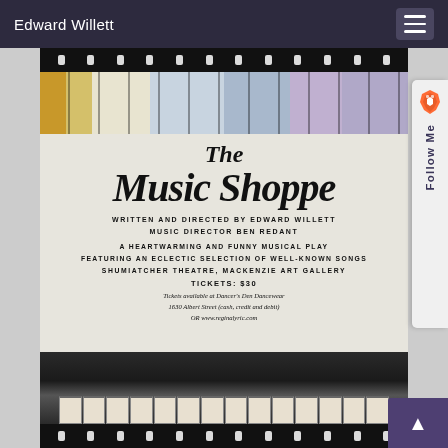Edward Willett
[Figure (illustration): Theatrical poster for 'The Music Shoppe' musical play, showing a stained glass window background with a piano. The poster includes script title text and production credits.]
The Music Shoppe
WRITTEN AND DIRECTED BY EDWARD WILLETT
MUSIC DIRECTOR BEN REDANT
A HEARTWARMING AND FUNNY MUSICAL PLAY
FEATURING AN ECLECTIC SELECTION OF WELL-KNOWN SONGS
SHUMIATCHER THEATRE, MACKENZIE ART GALLERY
TICKETS: $30
Tickets available at Dancer's Den Dancewear
1630 Albert Street (cash, credit and debit)
OR www.reginalyric.com